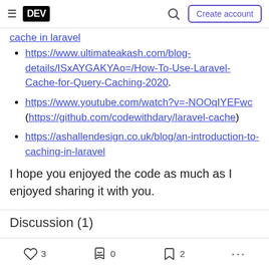DEV | Search | Create account
https://www.ultimateakash.com/blog-details/ISxAYGAKYAo=/How-To-Use-Laravel-Cache-for-Query-Caching-2020.
https://www.youtube.com/watch?v=-NOOqIYEFwc (https://github.com/codewithdary/laravel-cache)
https://ashallendesign.co.uk/blog/an-introduction-to-caching-in-laravel
I hope you enjoyed the code as much as I enjoyed sharing it with you.
3 likes  0  2 bookmarks ...